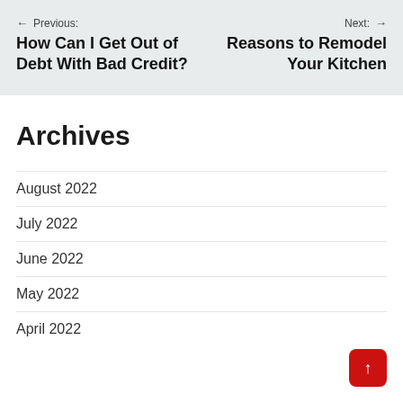← Previous: How Can I Get Out of Debt With Bad Credit?
Next: → Reasons to Remodel Your Kitchen
Archives
August 2022
July 2022
June 2022
May 2022
April 2022